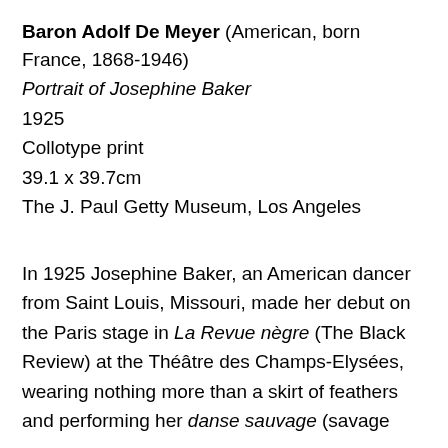Baron Adolf De Meyer (American, born France, 1868-1946)
Portrait of Josephine Baker
1925
Collotype print
39.1 x 39.7cm
The J. Paul Getty Museum, Los Angeles
In 1925 Josephine Baker, an American dancer from Saint Louis, Missouri, made her debut on the Paris stage in La Revue nègre (The Black Review) at the Théâtre des Champs-Elysées, wearing nothing more than a skirt of feathers and performing her danse sauvage (savage